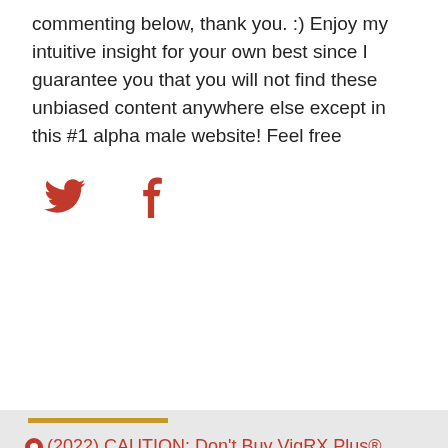commenting below, thank you. :) Enjoy my intuitive insight for your own best since I guarantee you that you will not find these unbiased content anywhere else except in this #1 alpha male website! Feel free
[Figure (illustration): Twitter bird icon and Facebook 'f' icon in red]
⊙ (2022) CAUTION: Don't Buy VigRX Plus® Before Seeing This Review for Men – What Are the Results? Any Side Effects?
Leave a Reply
Your email address will not be published. Required fields are marked *